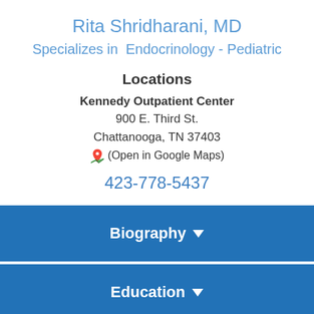Rita Shridharani, MD
Specializes in  Endocrinology - Pediatric
Locations
Kennedy Outpatient Center
900 E. Third St.
Chattanooga, TN 37403
(Open in Google Maps)
423-778-5437
Biography
Education